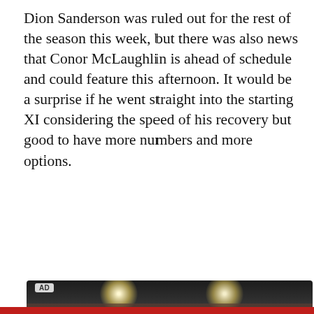Dion Sanderson was ruled out for the rest of the season this week, but there was also news that Conor McLaughlin is ahead of schedule and could feature this afternoon. It would be a surprise if he went straight into the starting XI considering the speed of his recovery but good to have more numbers and more options.
[Figure (photo): Dark image with stage lighting visible, partially obscured by advertisement overlay. AD badge visible in top-left corner.]
close ✕
Sign up for the Roker Report Daily Roundup newsletter!
A daily roundup of Sunderland news from Roker Report
Email (required)
SUBSCRIBE
By submitting your email, you agree to our Terms and Privacy Notice. You can opt out at any time. This site is protected by reCAPTCHA and the Google Privacy Policy and Terms of Service apply.